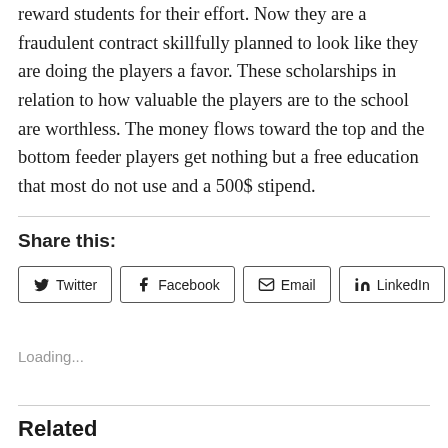reward students for their effort. Now they are a fraudulent contract skillfully planned to look like they are doing the players a favor. These scholarships in relation to how valuable the players are to the school are worthless. The money flows toward the top and the bottom feeder players get nothing but a free education that most do not use and a 500$ stipend.
Share this:
Twitter Facebook Email LinkedIn
Loading...
Related